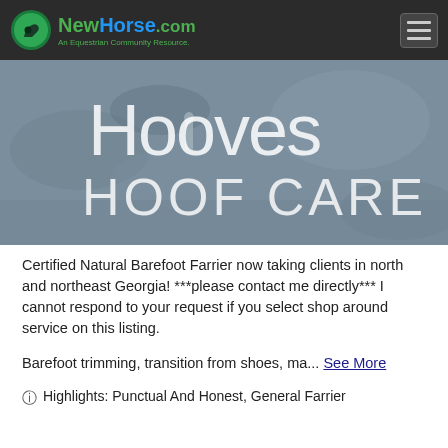NewHorse.com — An Equestrian Community Resource.
[Figure (photo): Hero banner image showing horse hooves in a rocky/muddy environment with large white text reading 'Hooves HOOF CARE' overlaid on the image.]
Certified Natural Barefoot Farrier now taking clients in north and northeast Georgia! ***please contact me directly*** I cannot respond to your request if you select shop around service on this listing.
Barefoot trimming, transition from shoes, ma... See More
Highlights: Punctual And Honest, General Farrier